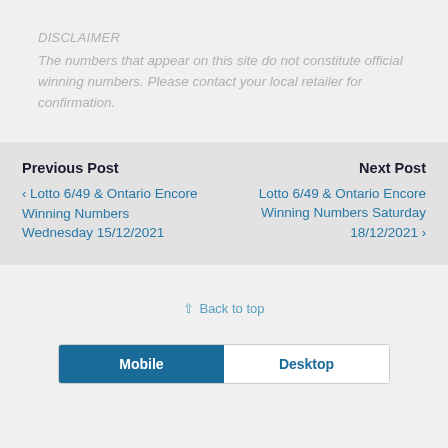DISCLAIMER
The numbers that appear on this site do not constitute official winning numbers. Please contact your local retailer for confirmation.
Previous Post
‹ Lotto 6/49 & Ontario Encore Winning Numbers Wednesday 15/12/2021
Next Post
Lotto 6/49 & Ontario Encore Winning Numbers Saturday 18/12/2021 ›
⇑ Back to top
Mobile  Desktop